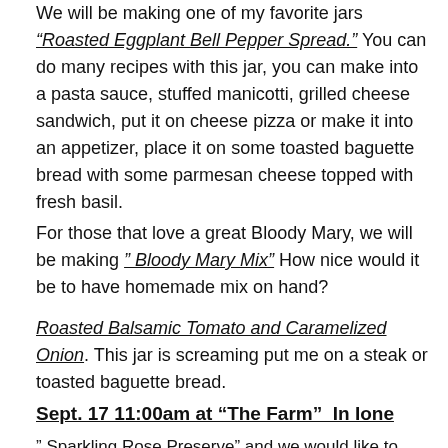We will be making one of my favorite jars "Roasted Eggplant Bell Pepper Spread." You can do many recipes with this jar, you can make into a pasta sauce, stuffed manicotti, grilled cheese sandwich, put it on cheese pizza or make it into an appetizer, place it on some toasted baguette bread with some parmesan cheese topped with fresh basil.
For those that love a great Bloody Mary, we will be making " Bloody Mary Mix" How nice would it be to have homemade mix on hand?
Roasted Balsamic Tomato and Caramelized Onion. This jar is screaming put me on a steak or toasted baguette bread.
Sept. 17 11:00am at “The Farm”  In Ione
" Sparkling Rose Preserve" and we would like to invite you to